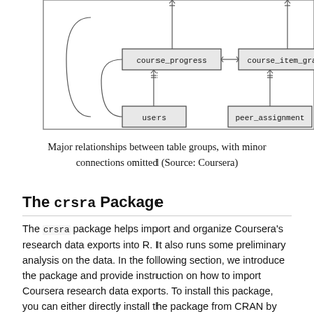[Figure (schematic): Entity-relationship diagram showing database tables: course_progress, course_item_grades, feedback_item_ratings, users, peer_assignment, course_branch_item_peer_assignment, with connecting lines and crow's foot notation.]
Major relationships between table groups, with minor connections omitted (Source: Coursera)
The crsra Package
The crsra package helps import and organize Coursera's research data exports into R. It also runs some preliminary analysis on the data. In the following section, we introduce the package and provide instruction on how to import Coursera research data exports. To install this package, you can either directly install the package from CRAN by install.packages("crsra") or install the development version through devtools, then execute the following commands: